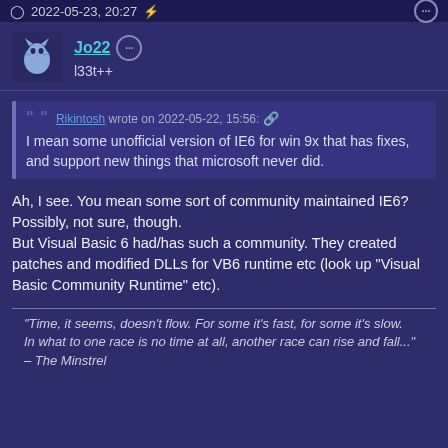2022-05-23, 20:27
Jo22
l33t++
Rikintosh wrote on 2022-05-22, 15:56: I mean some unofficial version of IE6 for win 9x that has fixes, and support new things that microsoft never did.
Ah, I see. You mean some sort of community maintained IE6? Possibly, not sure, though.
But Visual Basic 6 had/has such a community. They created patches and modified DLLs for VB6 runtime etc (look up "Visual Basic Community Runtime" etc).
"Time, it seems, doesn't flow. For some it's fast, for some it's slow.
In what to one race is no time at all, another race can rise and fall..." – The Minstrel